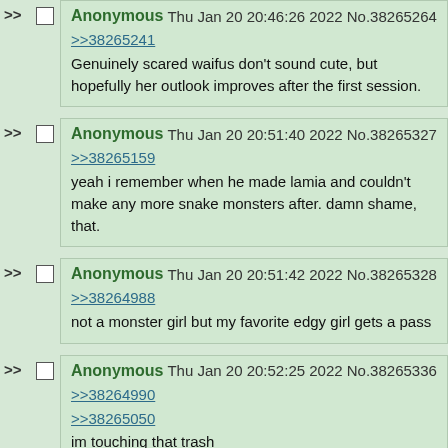>> Anonymous Thu Jan 20 20:46:26 2022 No.38265264
>>38265241
Genuinely scared waifus don't sound cute, but hopefully her outlook improves after the first session.
>> Anonymous Thu Jan 20 20:51:40 2022 No.38265327
>>38265159
yeah i remember when he made lamia and couldn't make any more snake monsters after. damn shame, that.
>> Anonymous Thu Jan 20 20:51:42 2022 No.38265328
>>38264988
not a monster girl but my favorite edgy girl gets a pass
>> Anonymous Thu Jan 20 20:52:25 2022 No.38265336
>>38264990
>>38265050
im touching that trash